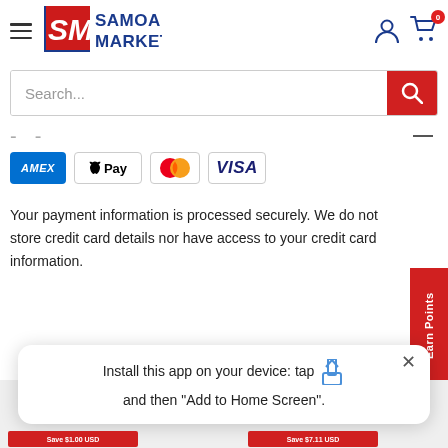[Figure (logo): Samoa Market logo with red/blue SM icon and SAMOA MARKET text]
[Figure (screenshot): Search bar with red search button]
[Figure (infographic): Payment method icons: American Express, Apple Pay, Mastercard, Visa]
Your payment information is processed securely. We do not store credit card details nor have access to your credit card information.
[Figure (other): Red Earn Points vertical tab on right side]
Install this app on your device: tap  and then "Add to Home Screen".